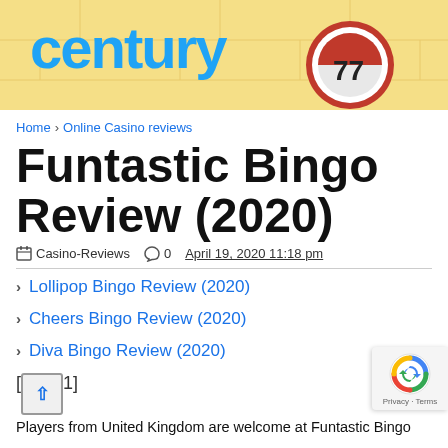[Figure (photo): Banner image showing a bingo-themed graphic with 'century' text in blue on a yellow background, with a bingo ball showing number 77]
Home › Online Casino reviews
Funtastic Bingo Review (2020)
Casino-Reviews  0  April 19, 2020 11:18 pm
Lollipop Bingo Review (2020)
Cheers Bingo Review (2020)
Diva Bingo Review (2020)
[^1]
Players from United Kingdom are welcome at Funtastic Bingo